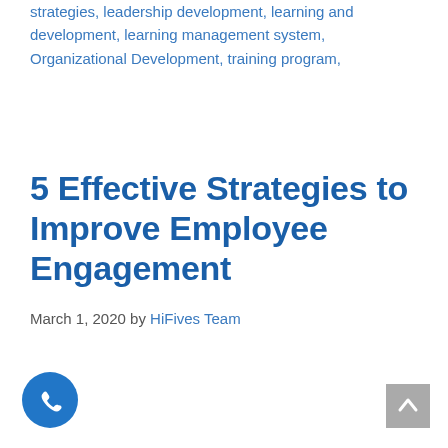strategies, leadership development, learning and development, learning management system, Organizational Development, training program
5 Effective Strategies to Improve Employee Engagement
March 1, 2020 by HiFives Team
[Figure (illustration): Blue circular phone/call button icon]
[Figure (illustration): Grey scroll-to-top button with upward chevron]